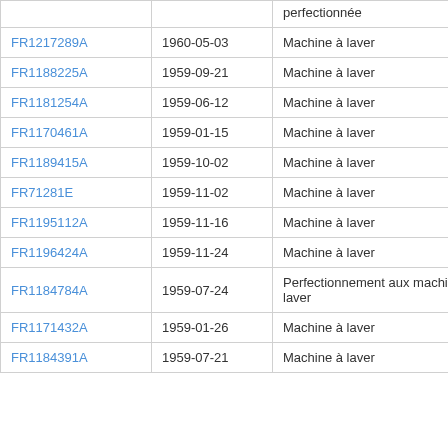| Patent | Date | Title |
| --- | --- | --- |
|  |  | perfectionnée |
| FR1217289A | 1960-05-03 | Machine à laver |
| FR1188225A | 1959-09-21 | Machine à laver |
| FR1181254A | 1959-06-12 | Machine à laver |
| FR1170461A | 1959-01-15 | Machine à laver |
| FR1189415A | 1959-10-02 | Machine à laver |
| FR71281E | 1959-11-02 | Machine à laver |
| FR1195112A | 1959-11-16 | Machine à laver |
| FR1196424A | 1959-11-24 | Machine à laver |
| FR1184784A | 1959-07-24 | Perfectionnement aux machines à laver |
| FR1171432A | 1959-01-26 | Machine à laver |
| FR1184391A | 1959-07-21 | Machine à laver |